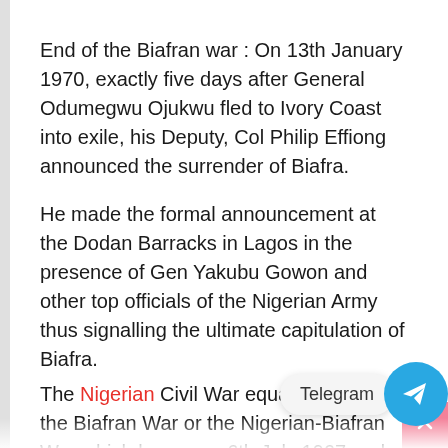End of the Biafran war : On 13th January 1970, exactly five days after General Odumegwu Ojukwu fled to Ivory Coast into exile, his Deputy, Col Philip Effiong announced the surrender of Biafra.
He made the formal announcement at the Dodan Barracks in Lagos in the presence of Gen Yakubu Gowon and other top officials of the Nigerian Army thus signalling the ultimate capitulation of Biafra.
The Nigerian Civil War equally known as the Biafran War or the Nigerian-Biafran War which began on 6th July 1967 and [Telegram] January 1970 was a bloody war fought between the government of Nigeria and the